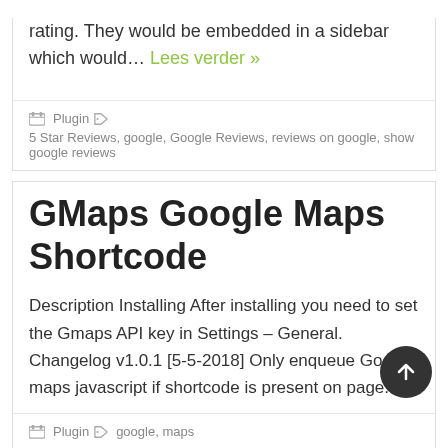rating. They would be embedded in a sidebar which would... Lees verder »
Plugin  5 Star Reviews, google, Google Reviews, reviews on google, show google reviews
GMaps Google Maps Shortcode
Description Installing After installing you need to set the Gmaps API key in Settings – General. Changelog v1.0.1 [5-5-2018] Only enqueue Google maps javascript if shortcode is present on page.
Plugin  google, maps
Quick Login